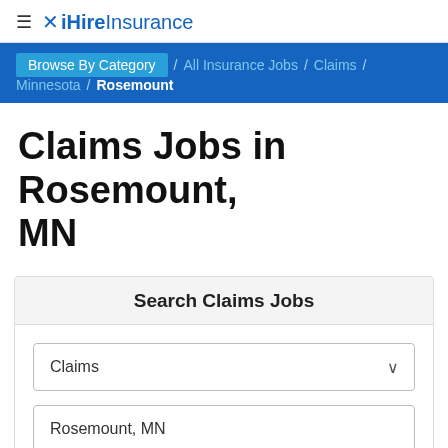≡ ✕ iHireInsurance
Browse By Category / All Insurance Jobs / Claims / Minnesota / Rosemount
Claims Jobs in Rosemount, MN
Search Claims Jobs
Claims (dropdown)
Rosemount, MN (input)
Search (button)